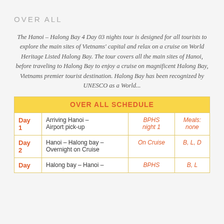OVER ALL
The Hanoi – Halong Bay 4 Day 03 nights tour is designed for all tourists to explore the main sites of Vietnams' capital and relax on a cruise on World Heritage Listed Halong Bay. The tour covers all the main sites of Hanoi, before traveling to Halong Bay to enjoy a cruise on magnificent Halong Bay, Vietnams premier tourist destination. Halong Bay has been recognized by UNESCO as a World...
|  | OVER ALL SCHEDULE |  |  |
| --- | --- | --- | --- |
| Day
1 | Arriving Hanoi –
Airport pick-up | BPHS
night 1 | Meals:
none |
| Day
2 | Hanoi – Halong bay –
Overnight on Cruise | On Cruise | B, L, D |
| Day | Halong bay – Hanoi – | BPHS | B, L |